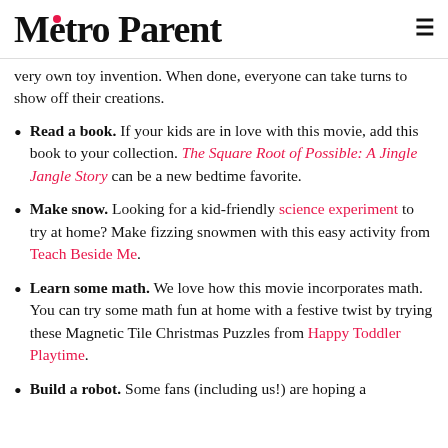Metro Parent
very own toy invention. When done, everyone can take turns to show off their creations.
Read a book. If your kids are in love with this movie, add this book to your collection. The Square Root of Possible: A Jingle Jangle Story can be a new bedtime favorite.
Make snow. Looking for a kid-friendly science experiment to try at home? Make fizzing snowmen with this easy activity from Teach Beside Me.
Learn some math. We love how this movie incorporates math. You can try some math fun at home with a festive twist by trying these Magnetic Tile Christmas Puzzles from Happy Toddler Playtime.
Build a robot. Some fans (including us!) are hoping a